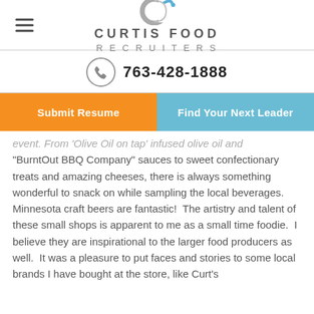[Figure (logo): Curtis Food Recruiters logo with circular icon and company name]
763-428-1888
Submit Resume
Find Your Next Leader
event. From 'Olive Oiron tap' infused olive oil and "BurntOut BBQ Company" sauces to sweet confectionary treats and amazing cheeses, there is always something wonderful to snack on while sampling the local beverages.  Minnesota craft beers are fantastic!  The artistry and talent of these small shops is apparent to me as a small time foodie.  I believe they are inspirational to the larger food producers as well.  It was a pleasure to put faces and stories to some local brands I have bought at the store, like Curt's Special Recipe...